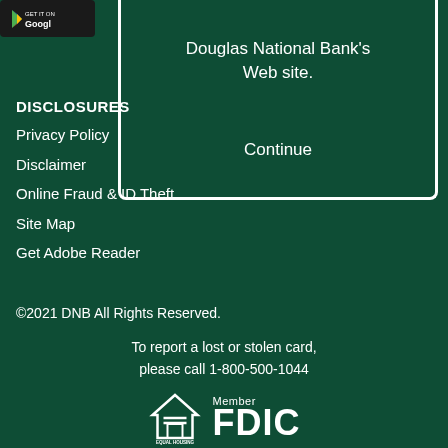[Figure (logo): Google Play store badge (partial, cropped)]
Douglas National Bank's Web site.

Continue
DISCLOSURES
Privacy Policy
Disclaimer
Online Fraud & ID Theft
Site Map
Get Adobe Reader
©2021 DNB All Rights Reserved.
To report a lost or stolen card, please call 1-800-500-1044
[Figure (logo): Equal Housing Lender logo and Member FDIC logo]